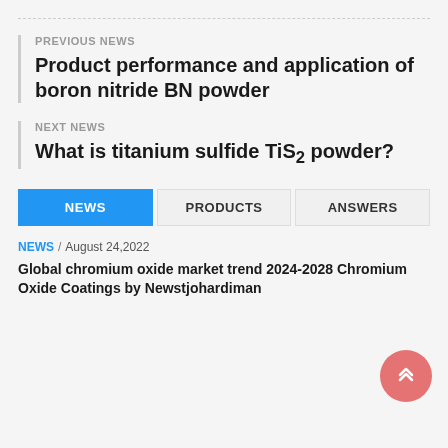PREVIOUS NEWS
Product performance and application of boron nitride BN powder
NEXT NEWS
What is titanium sulfide TiS2 powder?
NEWS | PRODUCTS | ANSWERS
NEWS / August 24,2022
Global chromium oxide market trend 2024-2028 Chromium Oxide Coatings by Newstjohardiman